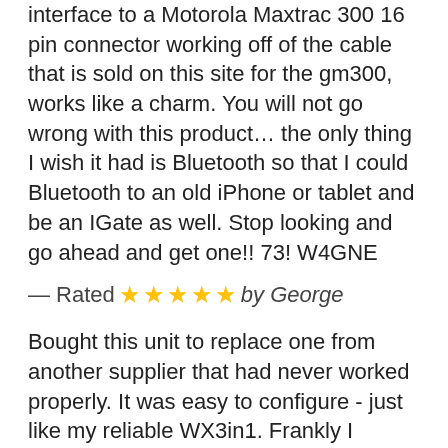interface to a Motorola Maxtrac 300 16 pin connector working off of the cable that is sold on this site for the gm300, works like a charm. You will not go wrong with this product… the only thing I wish it had is Bluetooth so that I could Bluetooth to an old iPhone or tablet and be an IGate as well. Stop looking and go ahead and get one!! 73! W4GNE
— Rated ★★★★★ by George
Bought this unit to replace one from another supplier that had never worked properly. It was easy to configure - just like my reliable WX3in1. Frankly I should have bought this unit in the first place...